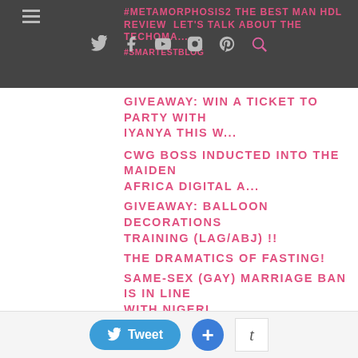#METAMORPHOSIS2 THE BEST MAN HDL REVIEW  LET'S TALK ABOUT THE TECHOMA... #SMARTestBlog
GIVEAWAY: WIN A TICKET TO PARTY WITH IYANYA THIS W...
CWG BOSS INDUCTED INTO THE MAIDEN AFRICA DIGITAL A...
GIVEAWAY: BALLOON DECORATIONS TRAINING (LAG/ABJ) !!
THE DRAMATICS OF FASTING!
SAME-SEX (GAY) MARRIAGE BAN IS IN LINE WITH NIGERI...
TESTING MY FEEDS...
MONDAY CHIT-CHAT: SHORT & SWEET, ALL YOU CAN EAT!
Tweet  +  t